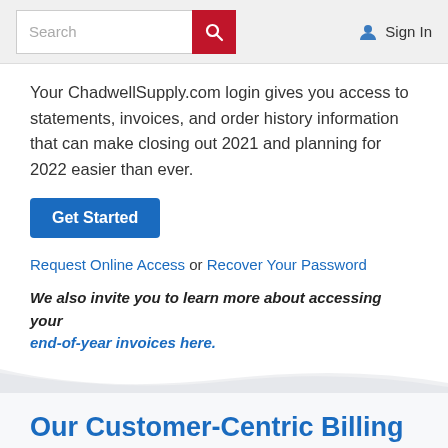Search | Sign In
Your ChadwellSupply.com login gives you access to statements, invoices, and order history information that can make closing out 2021 and planning for 2022 easier than ever.
Get Started
Request Online Access or Recover Your Password
We also invite you to learn more about accessing your end-of-year invoices here.
Our Customer-Centric Billing Makes Processing Invoices Easy.